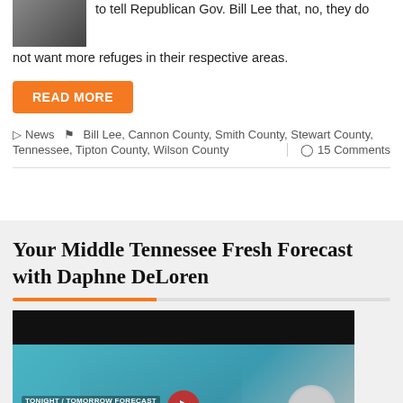to tell Republican Gov. Bill Lee that, no, they do not want more refuges in their respective areas.
READ MORE
News  Bill Lee, Cannon County, Smith County, Stewart County, Tennessee, Tipton County, Wilson County  |  15 Comments
Your Middle Tennessee Fresh Forecast with Daphne DeLoren
[Figure (screenshot): Video thumbnail showing a weather forecast presenter with TONIGHT/TOMORROW FORECAST text overlay, 7PM and TONIGHT labels visible]